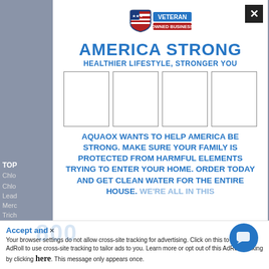[Figure (logo): Veteran Owned Business shield badge logo]
AMERICA STRONG
HEALTHIER LIFESTYLE, STRONGER YOU
[Figure (other): Four product image placeholder boxes in a row]
AQUAOX WANTS TO HELP AMERICA BE STRONG. MAKE SURE YOUR FAMILY IS PROTECTED FROM HARMFUL ELEMENTS TRYING TO ENTER YOUR HOME. ORDER TODAY AND GET CLEAN WATER FOR THE ENTIRE HOUSE. WE'RE ALL IN THIS
TOP
Chlo
Chlo
Lead
Merc
Trich
Hydr
Iron
Tetr
TTHM
VOC
Accept and  ×
Your browser settings do not allow cross-site tracking for advertising. Click on this to allow AdRoll to use cross-site tracking to tailor ads to you. Learn more or opt out of this AdRoll tracking by clicking here. This message only appears once.